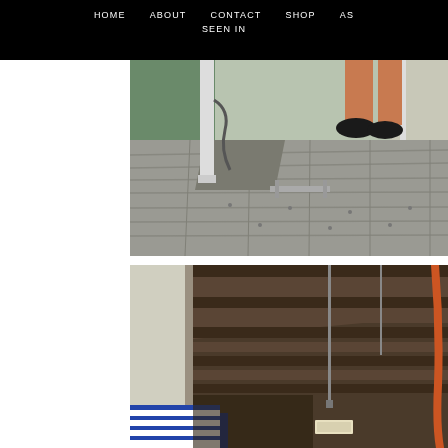HOME  ABOUT  CONTACT  SHOP  AS  SEEN IN
[Figure (photo): Outdoor wooden dock/boardwalk with weathered grey planks, white railing post with metal chain, and a person's lower legs wearing black flat shoes standing on the dock. Green water visible on the left side.]
[Figure (photo): Underside view of a wooden dock/pier structure showing dark brown wooden beams/rafters from below, with a vertical metal rod hanging down. Blue and white striped fabric visible at lower left, and an orange rope on the right side.]